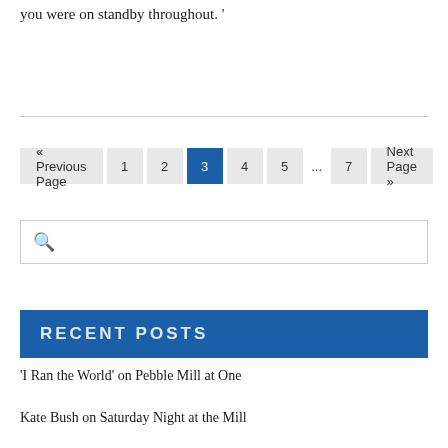you were on standby throughout. '
« Previous Page  1  2  3  4  5  ...  7  Next Page »
[Figure (other): Search input box with magnifying glass icon]
RECENT POSTS
'I Ran the World' on Pebble Mill at One
Kate Bush on Saturday Night at the Mill